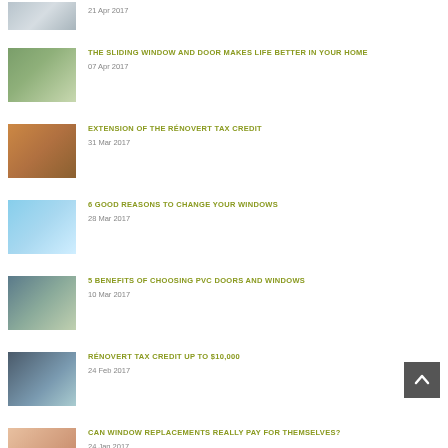21 Apr 2017
THE SLIDING WINDOW AND DOOR MAKES LIFE BETTER IN YOUR HOME
07 Apr 2017
EXTENSION OF THE RÉNOVERT TAX CREDIT
31 Mar 2017
6 GOOD REASONS TO CHANGE YOUR WINDOWS
28 Mar 2017
5 BENEFITS OF CHOOSING PVC DOORS AND WINDOWS
10 Mar 2017
RÉNOVERT TAX CREDIT UP TO $10,000
24 Feb 2017
CAN WINDOW REPLACEMENTS REALLY PAY FOR THEMSELVES?
24 Jan 2017
NEW TRENDS IN WINDOWS AND DOORS